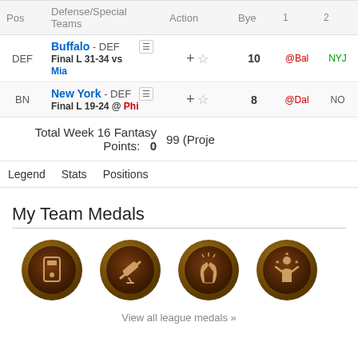| Pos | Defense/Special Teams | Action | Bye | 1 | 2 |
| --- | --- | --- | --- | --- | --- |
| DEF | Buffalo - DEF | Final L 31-34 vs Mia |  | 10 | @Bal | NYJ |
| BN | New York - DEF | Final L 19-24 @ Phi |  | 8 | @Dal | NO |
Total Week 16 Fantasy Points: 0  99 (Projected)
Legend
Stats
Positions
My Team Medals
[Figure (illustration): Four bronze/gold medal coins with icons: light switch, telescope, praying hands, person with stars]
View all league medals »